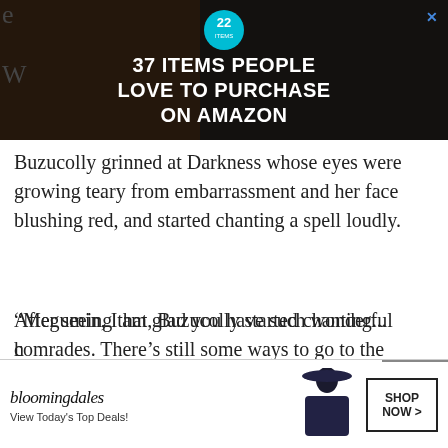[Figure (screenshot): Advertisement banner: '37 ITEMS PEOPLE LOVE TO PURCHASE ON AMAZON' with teal badge showing '22' and kitchen items on dark background]
Buzucolly grinned at Darkness whose eyes were growing teary from embarrassment and her face blushing red, and started chanting a spell loudly.
“Megumin, I am glad you have such wonderful comrades. There’s still some ways to go to the village. Come, we will show you in, outsiders. We will send you there with teleport!”
After seeing that, Buzucolly started chanting... h
[Figure (screenshot): Bloomingdale's advertisement at bottom: 'View Today's Top Deals!' with SHOP NOW button and woman in hat image]